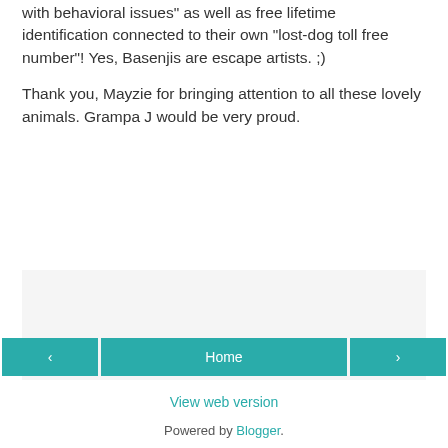with behavioral issues" as well as free lifetime identification connected to their own "lost-dog toll free number"! Yes, Basenjis are escape artists. ;)
Thank you, Mayzie for bringing attention to all these lovely animals. Grampa J would be very proud.
‹   Home   ›   View web version   Powered by Blogger.